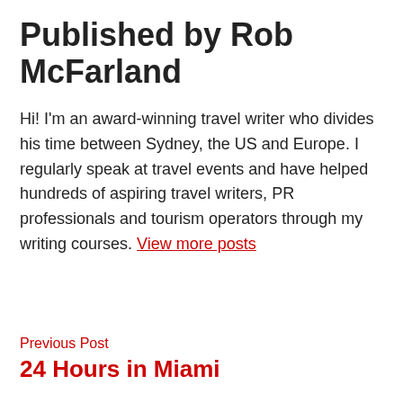Published by Rob McFarland
Hi! I'm an award-winning travel writer who divides his time between Sydney, the US and Europe. I regularly speak at travel events and have helped hundreds of aspiring travel writers, PR professionals and tourism operators through my writing courses. View more posts
Previous Post
24 Hours in Miami